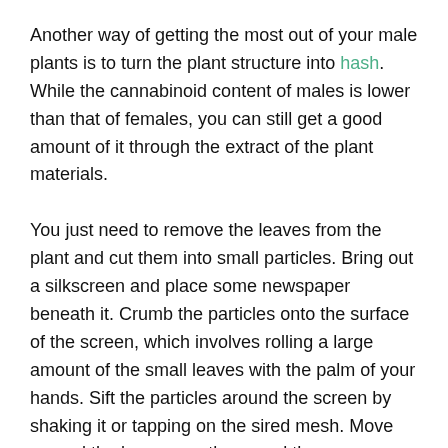Another way of getting the most out of your male plants is to turn the plant structure into hash. While the cannabinoid content of males is lower than that of females, you can still get a good amount of it through the extract of the plant materials.
You just need to remove the leaves from the plant and cut them into small particles. Bring out a silkscreen and place some newspaper beneath it. Crumb the particles onto the surface of the screen, which involves rolling a large amount of the small leaves with the palm of your hands. Sift the particles around the screen by shaking it or tapping on the sired mesh. Move around the leaves gently around the screen. Avoid pressing down on it hard. This should give you a good amount of the resin from the particles. Collect the resin and discard the leaves.